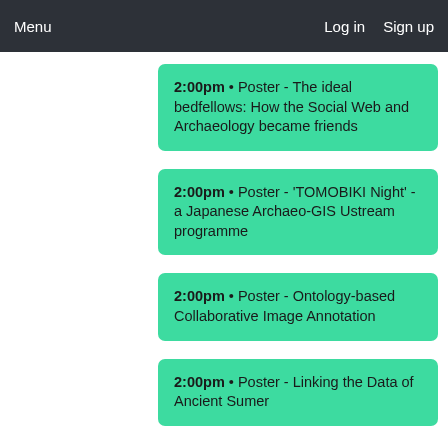Menu   Log in   Sign up
2:00pm • Poster - The ideal bedfellows: How the Social Web and Archaeology became friends
2:00pm • Poster - 'TOMOBIKI Night' - a Japanese Archaeo-GIS Ustream programme
2:00pm • Poster - Ontology-based Collaborative Image Annotation
2:00pm • Poster - Linking the Data of Ancient Sumer